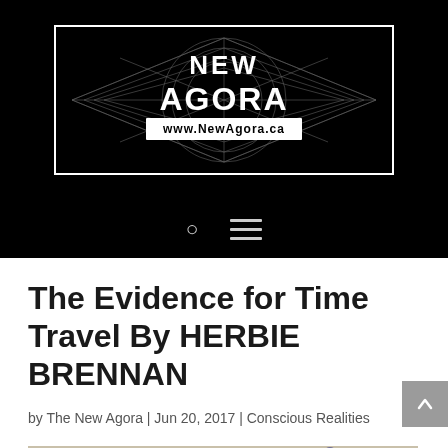[Figure (logo): New Agora logo with geometric diamond/mandala design on black background. Text reads 'NEW AGORA' and 'www.NewAgora.ca' in white.]
The Evidence for Time Travel By HERBIE BRENNAN
by The New Agora | Jun 20, 2017 | Conscious Realities
[Figure (photo): Partial view of artworks or sculptures showing stylized figures, partially visible at bottom of page.]